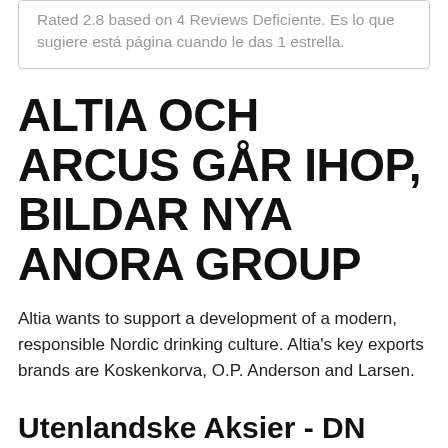Rated 2.8 based on 4 Reviews  Deficiente. Es lo que sugiere está página cuando le das 1 estrella.
ALTIA OCH ARCUS GÅR IHOP, BILDAR NYA ANORA GROUP
Altia wants to support a development of a modern, responsible Nordic drinking culture. Altia's key exports brands are Koskenkorva, O.P. Anderson and Larsen.
Utenlandske Aksier - DN